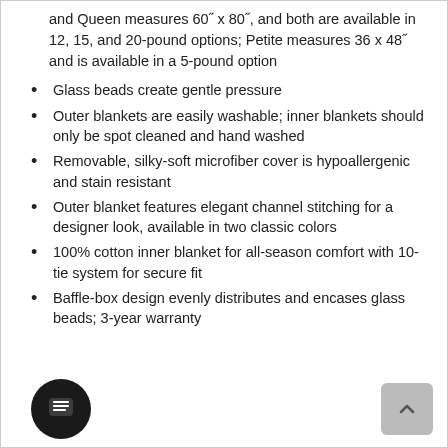and Queen measures 60" x 80", and both are available in 12, 15, and 20-pound options; Petite measures 36 x 48" and is available in a 5-pound option
Glass beads create gentle pressure
Outer blankets are easily washable; inner blankets should only be spot cleaned and hand washed
Removable, silky-soft microfiber cover is hypoallergenic and stain resistant
Outer blanket features elegant channel stitching for a designer look, available in two classic colors
100% cotton inner blanket for all-season comfort with 10-tie system for secure fit
Baffle-box design evenly distributes and encases glass beads; 3-year warranty